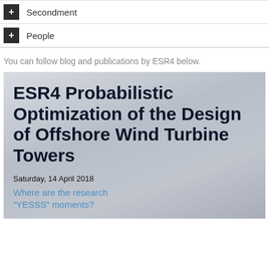+ Secondment
+ People
You can follow blog and publications by ESR4 below.
[Figure (illustration): Card image with wind turbine background showing article titled 'ESR4 Probabilistic Optimization of the Design of Offshore Wind Turbine Towers', dated Saturday, 14 April 2018, with link text 'Where are the research "YESSS" moments?']